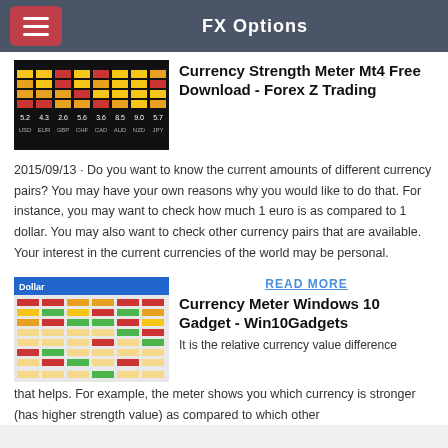FX Options
[Figure (screenshot): Currency strength meter display showing USD EUR GBP CHF CAD AUD NZD JPY with values 5.2 4.3 2.6 5.6 3.6 8.5 9.0 5.7]
Currency Strength Meter Mt4 Free Download - Forex Z Trading
2015/09/13 · Do you want to know the current amounts of different currency pairs? You may have your own reasons why you would like to do that. For instance, you may want to check how much 1 euro is as compared to 1 dollar. You may also want to check other currency pairs that are available. Your interest in the current currencies of the world may be personal.
READ MORE
[Figure (screenshot): Currency Meter Windows 10 Gadget screenshot showing Dollar and multiple currency bars in red, green, orange colors]
Currency Meter Windows 10 Gadget - Win10Gadgets
It is the relative currency value difference that helps. For example, the meter shows you which currency is stronger (has higher strength value) as compared to which other